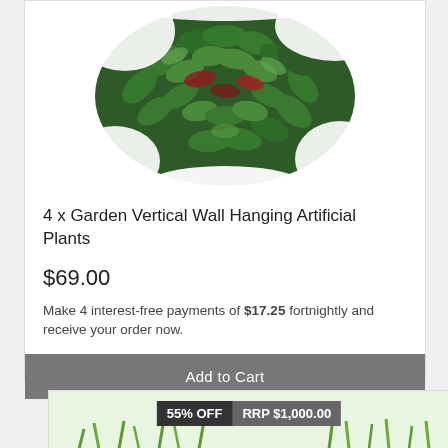[Figure (photo): Close-up of artificial green wall panel with dense green and red-tinged leaves on white background]
4 x Garden Vertical Wall Hanging Artificial Plants
$69.00
Make 4 interest-free payments of $17.25 fortnightly and receive your order now.
Add to Cart
[Figure (photo): Partial view of another artificial plant product with badges showing 55% OFF and RRP $1,000.00]